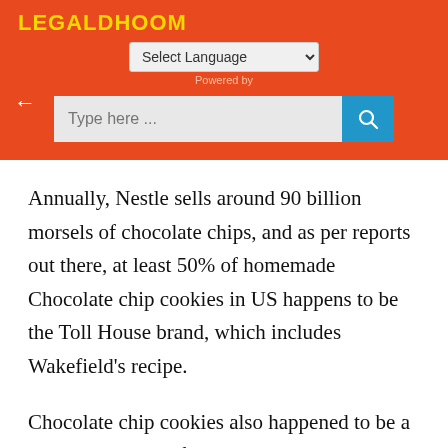LEGALDHOOM
Annually, Nestle sells around 90 billion morsels of chocolate chips, and as per reports out there, at least 50% of homemade Chocolate chip cookies in US happens to be the Toll House brand, which includes Wakefield's recipe.
Chocolate chip cookies also happened to be a major diet source for military during WWII.
What did Mrs. Wakefield get for selling the rights